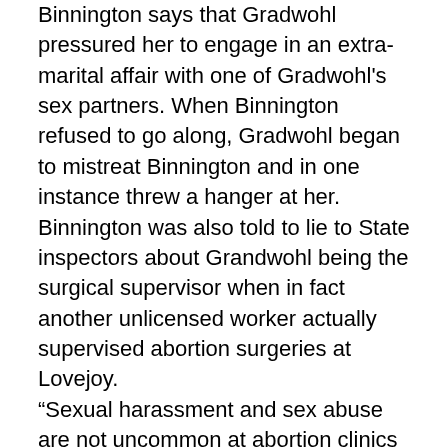Binnington says that Gradwohl pressured her to engage in an extra-marital affair with one of Gradwohl's sex partners. When Binnington refused to go along, Gradwohl began to mistreat Binnington and in one instance threw a hanger at her.
Binnington was also told to lie to State inspectors about Grandwohl being the surgical supervisor when in fact another unlicensed worker actually supervised abortion surgeries at Lovejoy.
“Sexual harassment and sex abuse are not uncommon at abortion clinics across the nation. We hear reports of this kind of despicable behavior all too often,” said Cheryl Sullenger, Senior Policy Advisor for Operation Rescue. “It is the ultimate betrayal of a woman’s trust to take sexual advantage of her during a time of vulnerability. Women should be aware of the deviate behavior that apparently continues at Lovejoy Surgicenter, and avoid it like they